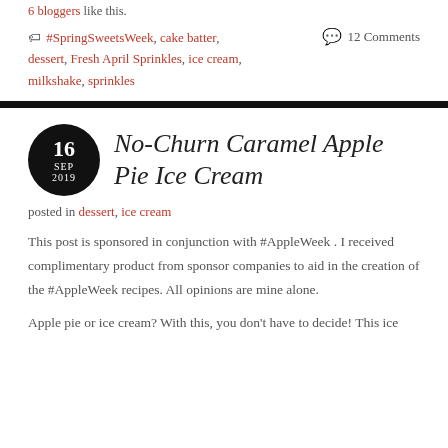6 bloggers like this.
#SpringSweetsWeek, cake batter, dessert, Fresh April Sprinkles, ice cream, milkshake, sprinkles    💬 12 Comments
No-Churn Caramel Apple Pie Ice Cream
posted in dessert, ice cream
This post is sponsored in conjunction with #AppleWeek . I received complimentary product from sponsor companies to aid in the creation of the #AppleWeek recipes. All opinions are mine alone.
Apple pie or ice cream? With this, you don't have to decide! This ice